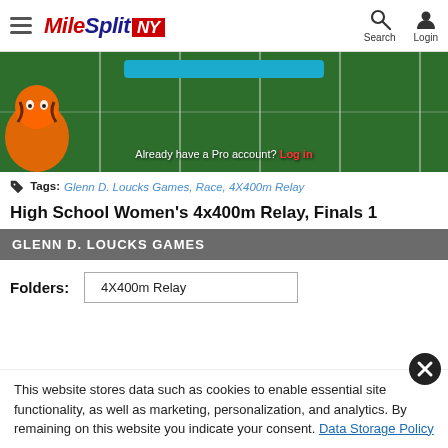MileSplit NY — Search, Login
[Figure (screenshot): Hero image showing a football field with a tiger mascot logo on the left and a blue button overlay. Text reads: Already have a Pro account? Log in]
Tags: Glenn D. Loucks Games, Race, 4X400m Relay
High School Women's 4x400m Relay, Finals 1
GLENN D. LOUCKS GAMES
Folders: 4X400m Relay
This website stores data such as cookies to enable essential site functionality, as well as marketing, personalization, and analytics. By remaining on this website you indicate your consent. Data Storage Policy